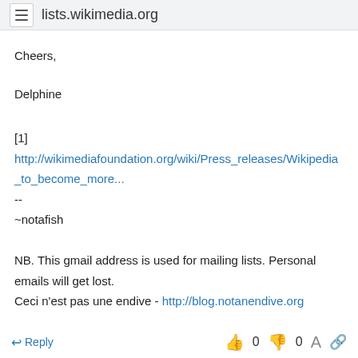lists.wikimedia.org
Cheers,

Delphine
[1]
http://wikimediafoundation.org/wiki/Press_releases/Wikipedia_to_become_more...
--
~notafish

NB. This gmail address is used for mailing lists. Personal emails will get lost.
Ceci n'est pas une endive - http://blog.notanendive.org
↩ Reply